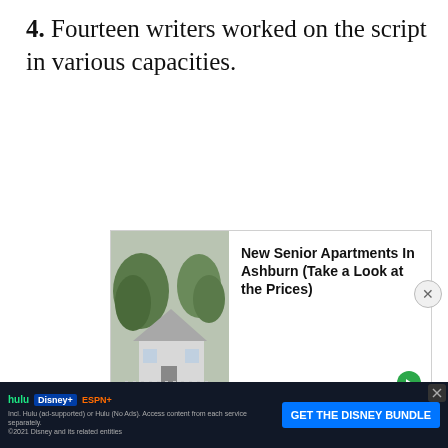4. Fourteen writers worked on the script in various capacities.
[Figure (other): Advertisement banner: New Senior Apartments In Ashburn (Take a Look at the Prices) — Sponsored by Branded Links, with a photo of a house.]
5. The Kansas scenes were shot at the end of the production schedule, directed by King Vidor after MGM sent Fleming to “save” Gone with the Wind. it was Vidor’s idea to add camera movement to the so... [continues off page]